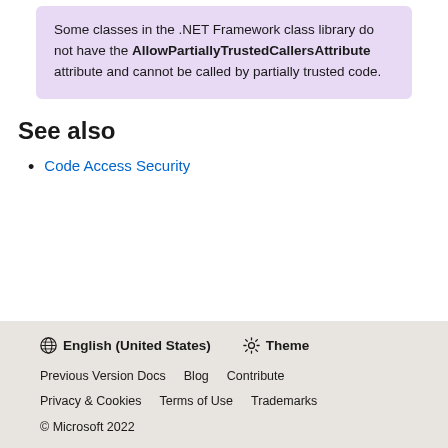Some classes in the .NET Framework class library do not have the AllowPartiallyTrustedCallersAttribute attribute and cannot be called by partially trusted code.
See also
Code Access Security
🌐 English (United States)  ☀️ Theme  Previous Version Docs  Blog  Contribute  Privacy & Cookies  Terms of Use  Trademarks  © Microsoft 2022